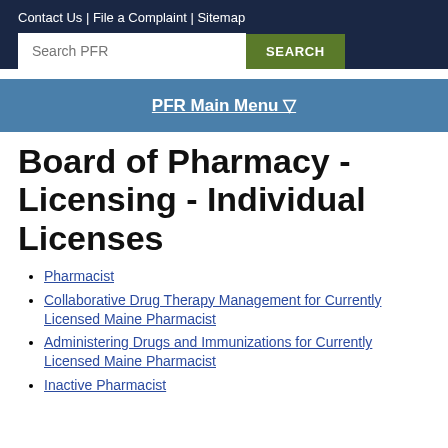Contact Us | File a Complaint | Sitemap
Search PFR  SEARCH
PFR Main Menu ▽
Board of Pharmacy - Licensing - Individual Licenses
Pharmacist
Collaborative Drug Therapy Management for Currently Licensed Maine Pharmacist
Administering Drugs and Immunizations for Currently Licensed Maine Pharmacist
Inactive Pharmacist